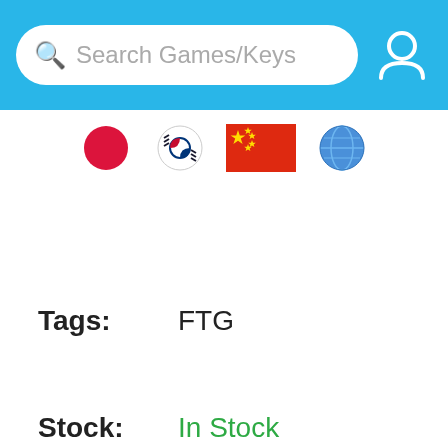[Figure (screenshot): Blue header bar with search box labeled 'Search Games/Keys' and user profile icon]
[Figure (infographic): Row of four flag icons: Japan (red circle), South Korea (taegeukgi), China (red with yellow stars), and globe emoji]
Tags: FTG
Stock: In Stock
Quantity  1-500
[Figure (screenshot): Blue 'Buy Now' button overlaying the dark quantity/action section]
[Figure (illustration): Pink heart icon (wishlist)]
[Figure (illustration): Green chat bubble icon]
[Figure (illustration): Teal shopping cart icon with plus sign]
Product Description